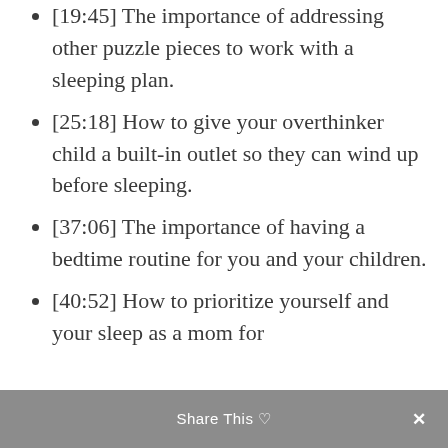[19:45] The importance of addressing other puzzle pieces to work with a sleeping plan.
[25:18] How to give your overthinker child a built-in outlet so they can wind up before sleeping.
[37:06] The importance of having a bedtime routine for you and your children.
[40:52] How to prioritize yourself and your sleep as a mom for
Share This ×